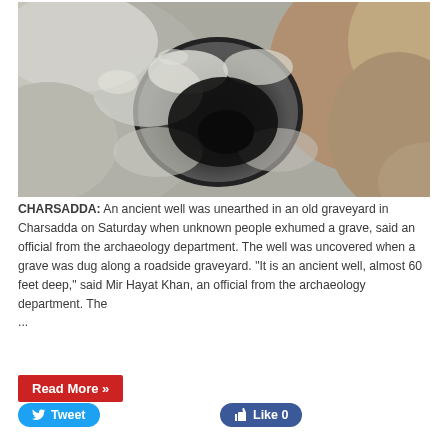[Figure (photo): A dark circular pit or ancient well viewed from above, surrounded by rocky grey-brown earth and debris.]
CHARSADDA: An ancient well was unearthed in an old graveyard in Charsadda on Saturday when unknown people exhumed a grave, said an official from the archaeology department. The well was uncovered when a grave was dug along a roadside graveyard. “It is an ancient well, almost 60 feet deep,” said Mir Hayat Khan, an official from the archaeology department. The ...
Read More »
Tweet
Like 0